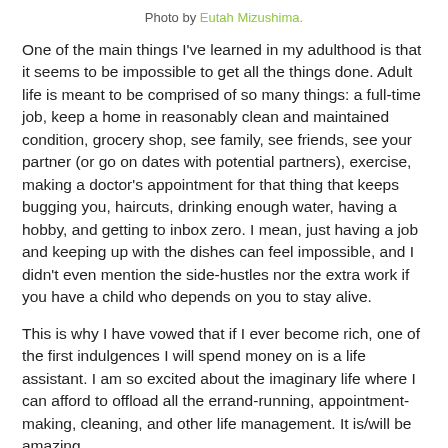Photo by Eutah Mizushima.
One of the main things I've learned in my adulthood is that it seems to be impossible to get all the things done. Adult life is meant to be comprised of so many things: a full-time job, keep a home in reasonably clean and maintained condition, grocery shop, see family, see friends, see your partner (or go on dates with potential partners), exercise, making a doctor's appointment for that thing that keeps bugging you, haircuts, drinking enough water, having a hobby, and getting to inbox zero. I mean, just having a job and keeping up with the dishes can feel impossible, and I didn't even mention the side-hustles nor the extra work if you have a child who depends on you to stay alive.
This is why I have vowed that if I ever become rich, one of the first indulgences I will spend money on is a life assistant. I am so excited about the imaginary life where I can afford to offload all the errand-running, appointment-making, cleaning, and other life management. It is/will be amazing.